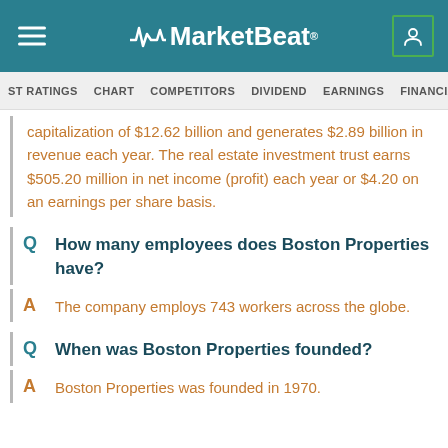MarketBeat
ST RATINGS  CHART  COMPETITORS  DIVIDEND  EARNINGS  FINANCIALS  IN
capitalization of $12.62 billion and generates $2.89 billion in revenue each year. The real estate investment trust earns $505.20 million in net income (profit) each year or $4.20 on an earnings per share basis.
How many employees does Boston Properties have?
The company employs 743 workers across the globe.
When was Boston Properties founded?
Boston Properties was founded in 1970.